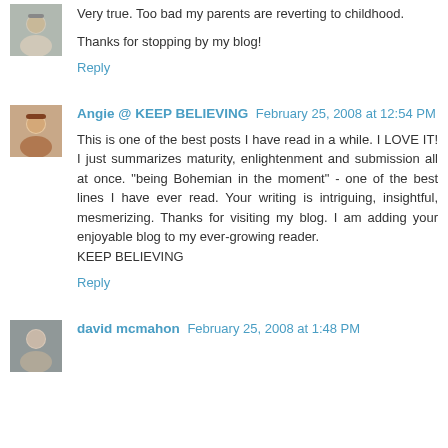Very true. Too bad my parents are reverting to childhood.
Thanks for stopping by my blog!
Reply
Angie @ KEEP BELIEVING  February 25, 2008 at 12:54 PM
This is one of the best posts I have read in a while. I LOVE IT! I just summarizes maturity, enlightenment and submission all at once. "being Bohemian in the moment" - one of the best lines I have ever read. Your writing is intriguing, insightful, mesmerizing. Thanks for visiting my blog. I am adding your enjoyable blog to my ever-growing reader.
KEEP BELIEVING
Reply
david mcmahon  February 25, 2008 at 1:48 PM